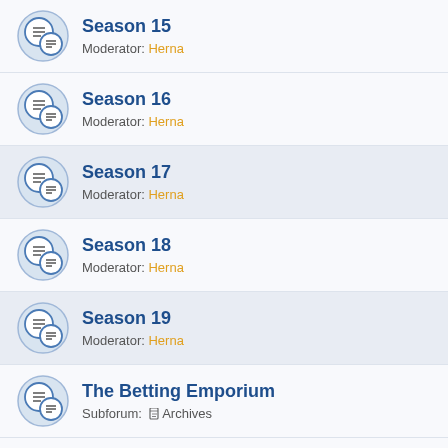Season 15 — Moderator: Herna
Season 16 — Moderator: Herna
Season 17 — Moderator: Herna
Season 18 — Moderator: Herna
Season 19 — Moderator: Herna
The Betting Emporium — Subforum: Archives
Predictions